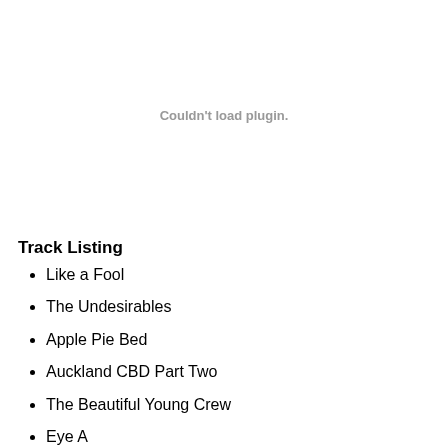Couldn't load plugin.
Track Listing
Like a Fool
The Undesirables
Apple Pie Bed
Auckland CBD Part Two
The Beautiful Young Crew
Eye A